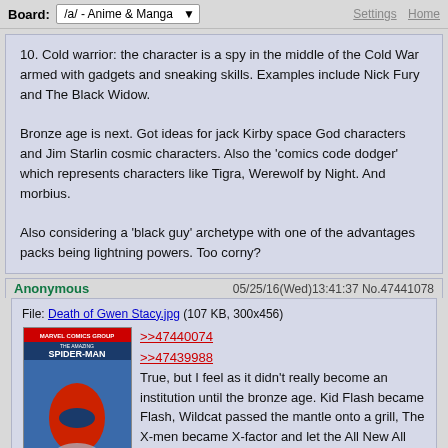Board: /a/ - Anime & Manga | Settings Home
10. Cold warrior: the character is a spy in the middle of the Cold War armed with gadgets and sneaking skills. Examples include Nick Fury and The Black Widow.

Bronze age is next. Got ideas for jack Kirby space God characters and Jim Starlin cosmic characters. Also the 'comics code dodger' which represents characters like Tigra, Werewolf by Night. And morbius.

Also considering a 'black guy' archetype with one of the advantages packs being lightning powers. Too corny?
Anonymous 05/25/16(Wed)13:41:37 No.47441078
File: Death of Gwen Stacy.jpg (107 KB, 300x456)
[Figure (illustration): Comic book cover of The Amazing Spider-Man]
>>47440074
>>47439988
True, but I feel as it didn't really become an institution until the bronze age. Kid Flash became Flash, Wildcat passed the mantle onto a grill, The X-men became X-factor and let the All New All Different guys take over, Tigra passed the mantle of Hellcat on to Patsy Walker, etc.
1. Legacy Character